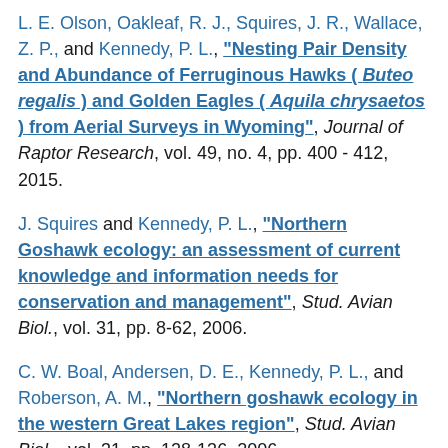L. E. Olson, Oakleaf, R. J., Squires, J. R., Wallace, Z. P., and Kennedy, P. L., "Nesting Pair Density and Abundance of Ferruginous Hawks ( Buteo regalis ) and Golden Eagles ( Aquila chrysaetos ) from Aerial Surveys in Wyoming", Journal of Raptor Research, vol. 49, no. 4, pp. 400 - 412, 2015.
J. Squires and Kennedy, P. L., "Northern Goshawk ecology: an assessment of current knowledge and information needs for conservation and management", Stud. Avian Biol., vol. 31, pp. 8-62, 2006.
C. W. Boal, Andersen, D. E., Kennedy, P. L., and Roberson, A. M., "Northern goshawk ecology in the western Great Lakes region", Stud. Avian Biol. , vol. 31, pp. 128-136, 2006.